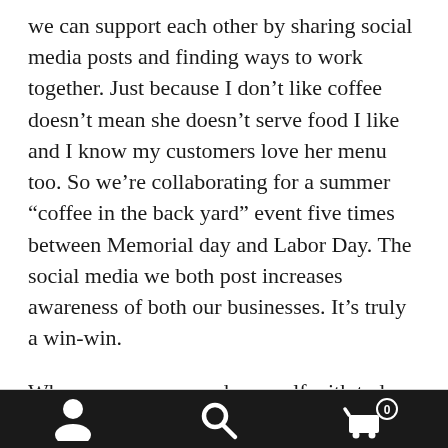we can support each other by sharing social media posts and finding ways to work together. Just because I don't like coffee doesn't mean she doesn't serve food I like and I know my customers love her menu too. So we're collaborating for a summer "coffee in the back yard" event five times between Memorial day and Labor Day. The social media we both post increases awareness of both our businesses. It's truly a win-win.
Who can you surround yourself with today to help motivate you in your business?
[Figure (other): Mobile app bottom navigation bar with person icon, search icon, and shopping cart icon with badge showing 0]